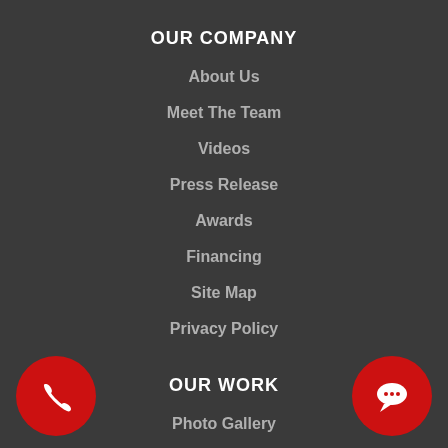OUR COMPANY
About Us
Meet The Team
Videos
Press Release
Awards
Financing
Site Map
Privacy Policy
OUR WORK
Photo Gallery
Before & After
Case Studies